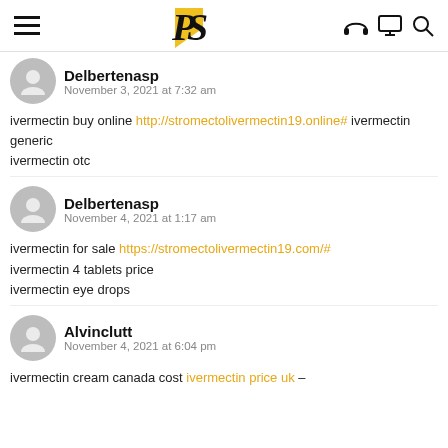PS [logo with headphones, monitor, magnifier icons]
Delbertenasp
November 3, 2021 at 7:32 am

ivermectin buy online http://stromectolivermectin19.online# ivermectin generic ivermectin otc
Delbertenasp
November 4, 2021 at 1:17 am

ivermectin for sale https://stromectolivermectin19.com/# ivermectin 4 tablets price ivermectin eye drops
Alvinclutt
November 4, 2021 at 6:04 pm

ivermectin cream canada cost ivermectin price uk –